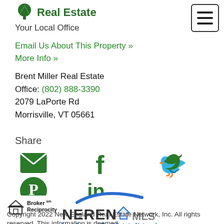[Figure (logo): Green tree icon logo with 'Real Estate' text in dark green bold]
Your Local Office
[Figure (other): Hamburger menu icon — three horizontal bars inside a rounded rectangle border]
Email Us About This Property »
More Info »
Brent Miller Real Estate
Office: (802) 888-3390
2079 LaPorte Rd
Morrisville, VT 05661
Share
[Figure (other): Social media sharing icons: email (envelope), Pinterest, Facebook, LinkedIn, Twitter — all in dark green]
[Figure (logo): Broker Reciprocity logo: house icon with 'Broker sm Reciprocity' text]
[Figure (logo): NEREN MLS logo with blue swoosh and 'New England Real Estate Network' subtitle in blue]
Copyright 2022 New England Real Estate Network, Inc. All rights reserved. This information is deemed